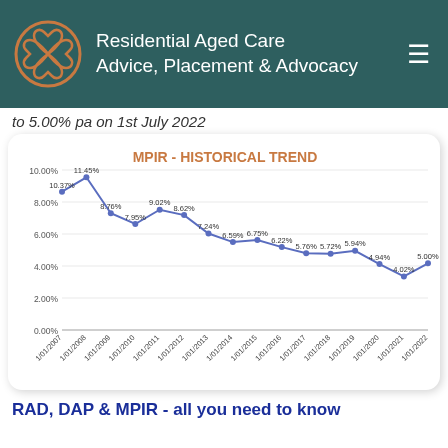Residential Aged Care Advice, Placement & Advocacy
to 5.00% pa on 1st July 2022
[Figure (line-chart): MPIR - HISTORICAL TREND]
RAD, DAP & MPIR - all you need to know